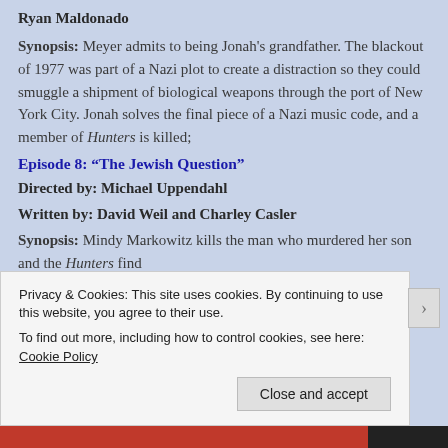Ryan Maldonado
Synopsis: Meyer admits to being Jonah's grandfather. The blackout of 1977 was part of a Nazi plot to create a distraction so they could smuggle a shipment of biological weapons through the port of New York City. Jonah solves the final piece of a Nazi music code, and a member of Hunters is killed;
Episode 8: “The Jewish Question”
Directed by: Michael Uppendahl
Written by: David Weil and Charley Casler
Synopsis: Mindy Markowitz kills the man who murdered her son and the Hunters find
Privacy & Cookies: This site uses cookies. By continuing to use this website, you agree to their use.
To find out more, including how to control cookies, see here: Cookie Policy
Close and accept